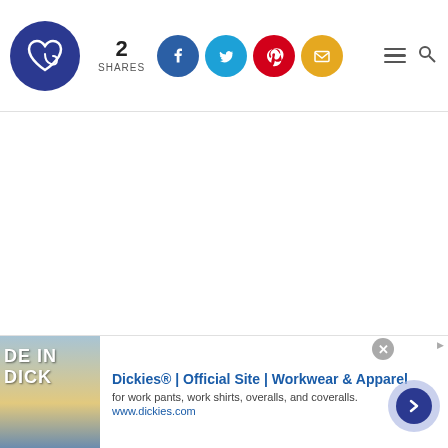2 SHARES — social sharing icons, navigation hamburger and search
When you're in the habit of picking up and putting things away when you are finished
[Figure (other): Advertisement banner for Dickies workwear showing product image, title, subtitle and arrow button]